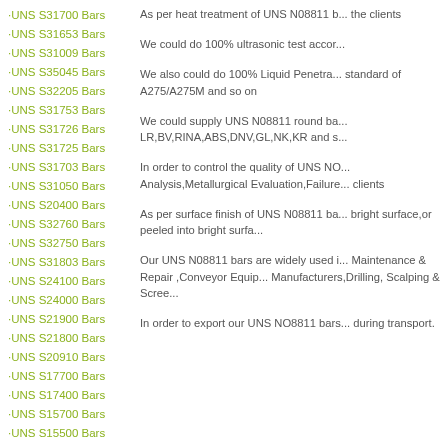·UNS S31700 Bars
·UNS S31653 Bars
·UNS S31009 Bars
·UNS S35045 Bars
·UNS S32205 Bars
·UNS S31753 Bars
·UNS S31726 Bars
·UNS S31725 Bars
·UNS S31703 Bars
·UNS S31050 Bars
·UNS S20400 Bars
·UNS S32760 Bars
·UNS S32750 Bars
·UNS S31803 Bars
·UNS S24100 Bars
·UNS S24000 Bars
·UNS S21900 Bars
·UNS S21800 Bars
·UNS S20910 Bars
·UNS S17700 Bars
·UNS S17400 Bars
·UNS S15700 Bars
·UNS S15500 Bars
As per heat treatment of UNS N08811 b... the clients
We could do 100% ultrasonic test accor...
We also could do 100% Liquid Penetra... standard of A275/A275M and so on
We could supply UNS N08811 round ba... LR,BV,RINA,ABS,DNV,GL,NK,KR and s...
In order to control the quality of UNS NO... Analysis,Metallurgical Evaluation,Failure... clients
As per surface finish of UNS N08811 ba... bright surface,or peeled into bright surfa...
Our UNS N08811 bars are widely used i... Maintenance & Repair ,Conveyor Equip... Manufacturers,Drilling, Scalping & Scree...
In order to export our UNS NO8811 bars... during transport.